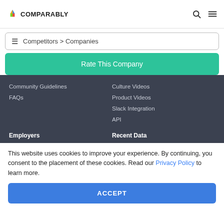Comparably
Competitors > Companies
Rate This Company
Community Guidelines
Culture Videos
FAQs
Product Videos
Slack Integration
API
Employers
Recent Data
This website uses cookies to improve your experience. By continuing, you consent to the placement of these cookies. Read our Privacy Policy to learn more.
ACCEPT